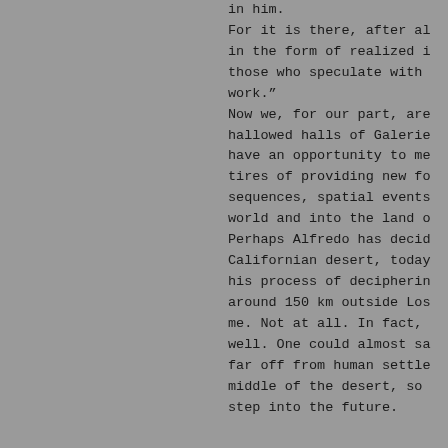in him. For it is there, after al in the form of realized i those who speculate with work." Now we, for our part, are hallowed halls of Galerie have an opportunity to me tires of providing new fo sequences, spatial events world and into the land o Perhaps Alfredo has decid Californian desert, today his process of decipherin around 150 km outside Los me. Not at all. In fact, well. One could almost sa far off from human settle middle of the desert, so step into the future.